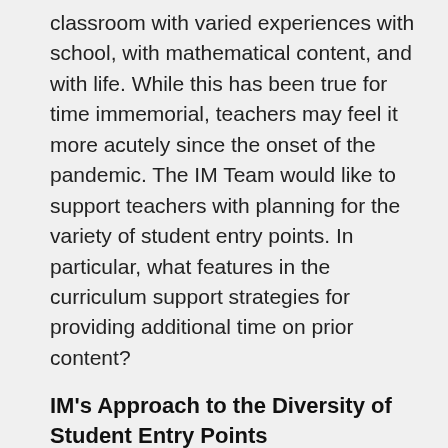classroom with varied experiences with school, with mathematical content, and with life. While this has been true for time immemorial, teachers may feel it more acutely since the onset of the pandemic. The IM Team would like to support teachers with planning for the variety of student entry points. In particular, what features in the curriculum support strategies for providing additional time on prior content?
IM's Approach to the Diversity of Student Entry Points
IM recognizes that students approach new mathematical learning with